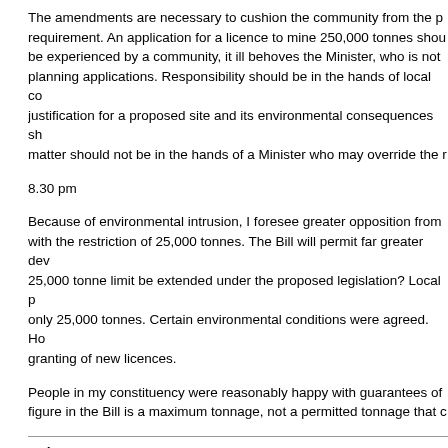The amendments are necessary to cushion the community from the p… requirement. An application for a licence to mine 250,000 tonnes sho… be experienced by a community, it ill behoves the Minister, who is not … planning applications. Responsibility should be in the hands of local co… justification for a proposed site and its environmental consequences sh… matter should not be in the hands of a Minister who may override the r…
8.30 pm
Because of environmental intrusion, I foresee greater opposition from … with the restriction of 25,000 tonnes. The Bill will permit far greater dev… 25,000 tonne limit be extended under the proposed legislation? Local p… only 25,000 tonnes. Certain environmental conditions were agreed. Ho… granting of new licences.
People in my constituency were reasonably happy with guarantees of … figure in the Bill is a maximum tonnage, not a permitted tonnage that c…
Column 229
I hope that Conservative Members, and the Minister in particular, appr… environmental legislation. I hope that the principles laid down in the En… of people in mining communities.
Many people move to mining communities on the understanding that m… reduction in the value of their properties as a consequence of a propos… acquired properties. Those people will be at the forefront of protests ab…
Mr. Skinner : Opposition Members have a fairish chance of winning th… said that, like Opposition Members, they are very much opposed to the…